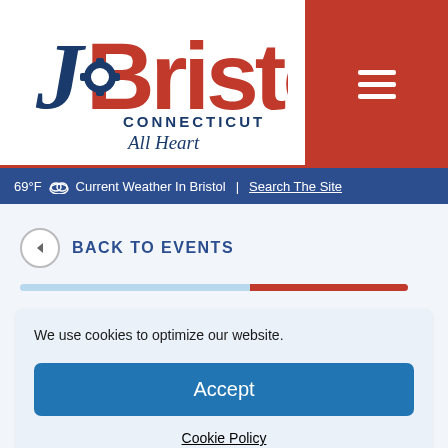[Figure (logo): Bristol Connecticut All Heart city logo with gear and cursive script]
69°F  Current Weather In Bristol  |  Search The Site
◄ BACK TO EVENTS
We use cookies to optimize our website.
Accept
Cookie Policy